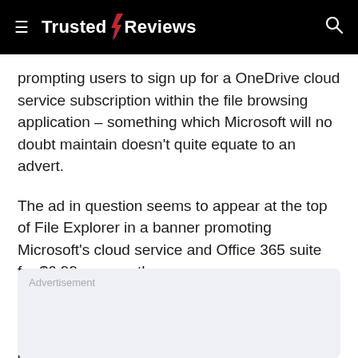Trusted Reviews
prompting users to sign up for a OneDrive cloud service subscription within the file browsing application – something which Microsoft will no doubt maintain doesn't quite equate to an advert.
The ad in question seems to appear at the top of File Explorer in a banner promoting Microsoft's cloud service and Office 365 suite for $6.99 per month.
It's unclear at this point whether UK users are also seeing similar promotions within their file explorers, but ExtremeTech claims users are reporting seeing this particular ad show up “a few months ago”
Advertisement